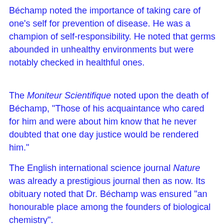Béchamp noted the importance of taking care of one's self for prevention of disease. He was a champion of self-responsibility. He noted that germs abounded in unhealthy environments but were notably checked in healthful ones.
The Moniteur Scientifique noted upon the death of Béchamp, "Those of his acquaintance who cared for him and were about him know that he never doubted that one day justice would be rendered him."
The English international science journal Nature was already a prestigious journal then as now. Its obituary noted that Dr. Béchamp was ensured "an honourable place among the founders of biological chemistry".